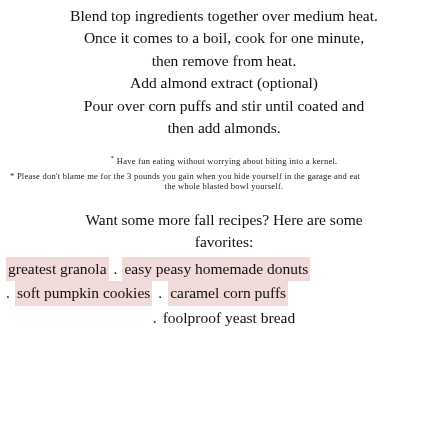Blend top ingredients together over medium heat. Once it comes to a boil, cook for one minute, then remove from heat. Add almond extract (optional) Pour over corn puffs and stir until coated and then add almonds.
* Have fun eating without worrying about biting into a kernel.
* Please don't blame me for the 3 pounds you gain when you hide yourself in the garage and eat the whole blasted bowl yourself.
Want some more fall recipes? Here are some favorites:
greatest granola . easy peasy homemade donuts . soft pumpkin cookies . caramel corn puffs . foolproof yeast bread